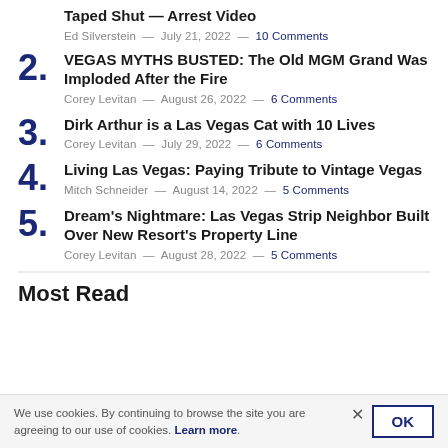Taped Shut — Arrest Video
Ed Silverstein — July 21, 2022 — 10 Comments
2. VEGAS MYTHS BUSTED: The Old MGM Grand Was Imploded After the Fire
Corey Levitan — August 26, 2022 — 6 Comments
3. Dirk Arthur is a Las Vegas Cat with 10 Lives
Corey Levitan — July 29, 2022 — 6 Comments
4. Living Las Vegas: Paying Tribute to Vintage Vegas
Mitch Schneider — August 14, 2022 — 5 Comments
5. Dream's Nightmare: Las Vegas Strip Neighbor Built Over New Resort's Property Line
Corey Levitan — August 28, 2022 — 5 Comments
Most Read
We use cookies. By continuing to browse the site you are agreeing to our use of cookies. Learn more.